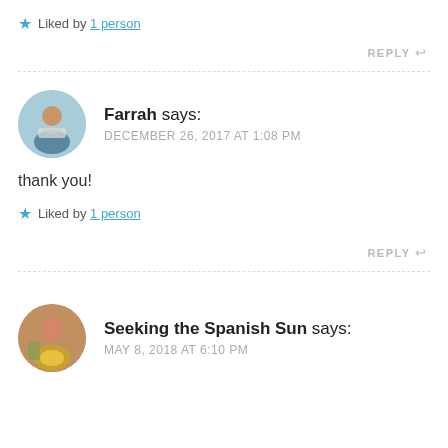★ Liked by 1 person
REPLY ↩
Farrah says: DECEMBER 26, 2017 AT 1:08 PM
thank you!
★ Liked by 1 person
REPLY ↩
Seeking the Spanish Sun says: MAY 8, 2018 AT 6:10 PM